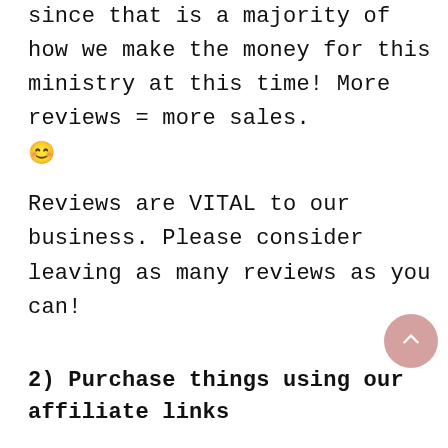since that is a majority of how we make the money for this ministry at this time! More reviews = more sales. 😊
Reviews are VITAL to our business. Please consider leaving as many reviews as you can!
2) Purchase things using our affiliate links
We get a small commission when you do. You are not charged any more than you'd normally pay for the item